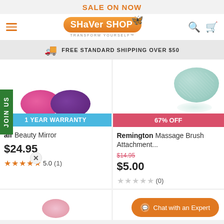SALE ON NOW
[Figure (logo): Shaver Shop logo with butterfly icon and tagline TRANSFORM YOURSELF]
FREE STANDARD SHIPPING OVER $50
[Figure (photo): Two circular beauty mirrors - one pink, one purple - Body Benefits brand]
1 YEAR WARRANTY
air Beauty Mirror
$24.95
5.0  (1)
[Figure (photo): Teal/mint textured massage brush ball attachment - Remington brand]
67% OFF
Remington Massage Brush Attachment...
$14.95
$5.00
(0)
Chat with an Expert